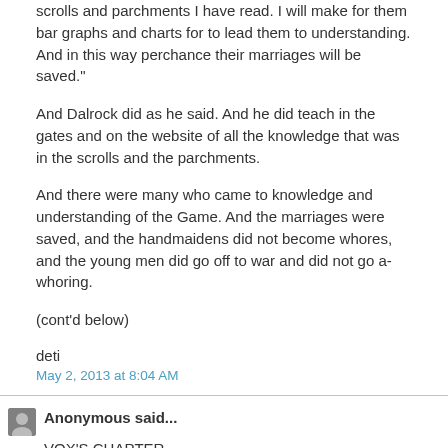scrolls and parchments I have read. I will make for them bar graphs and charts for to lead them to understanding. And in this way perchance their marriages will be saved."
And Dalrock did as he said. And he did teach in the gates and on the website of all the knowledge that was in the scrolls and the parchments.
And there were many who came to knowledge and understanding of the Game. And the marriages were saved, and the handmaidens did not become whores, and the young men did go off to war and did not go a-whoring.
(cont'd below)
deti
May 2, 2013 at 8:04 AM
Anonymous said...
VOX'S CHAPTER